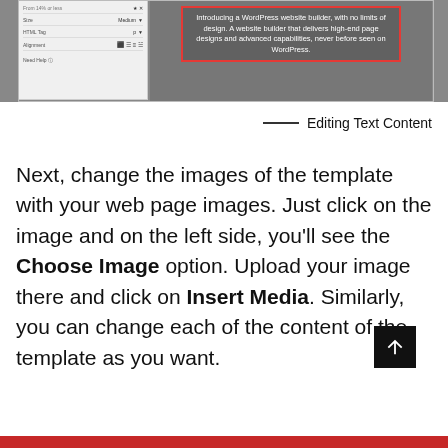[Figure (screenshot): WordPress page builder UI screenshot showing left settings panel with Size (Medium), HTML Tag, Alignment controls, and a right area with dark background containing a red-bordered text box reading 'Introducing a WordPress website builder, with no limits of design. A website builder that delivers high-end page designs and advanced capabilities, never before seen on WordPress.']
── Editing Text Content
Next, change the images of the template with your web page images. Just click on the image and on the left side, you'll see the Choose Image option. Upload your image there and click on Insert Media. Similarly, you can change each of the content of the template as you want.